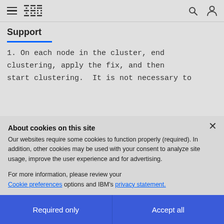IBM Support
Support
1. On each node in the cluster, end clustering, apply the fix, and then start clustering.  It is not necessary to
About cookies on this site
Our websites require some cookies to function properly (required). In addition, other cookies may be used with your consent to analyze site usage, improve the user experience and for advertising.
For more information, please review your Cookie preferences options and IBM's privacy statement.
Required only | Accept all